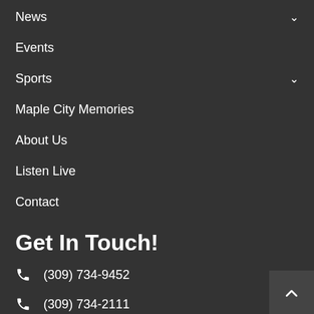News
Events
Sports
Maple City Memories
About Us
Listen Live
Contact
Get In Touch!
(309) 734-9452
(309) 734-2111
(309) 734-2999